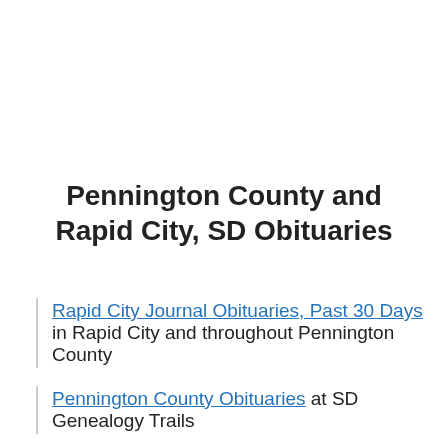Pennington County and Rapid City, SD Obituaries
Rapid City Journal Obituaries, Past 30 Days in Rapid City and throughout Pennington County
Pennington County Obituaries at SD Genealogy Trails
Pennington County Obituary Index at Obits Index
Pennington County, SD Obituaries at SD GenWeb Archives